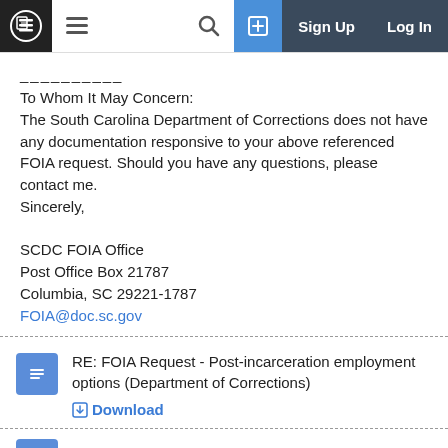Navigation bar with logo, menu, search, sign up, log in
----------
To Whom It May Concern:
The South Carolina Department of Corrections does not have any documentation responsive to your above referenced FOIA request. Should you have any questions, please contact me.
Sincerely,

SCDC FOIA Office
Post Office Box 21787
Columbia, SC 29221-1787
FOIA@doc.sc.gov
RE: FOIA Request - Post-incarceration employment options (Department of Corrections)
Download